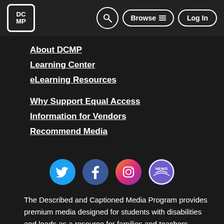DCMP | Browse | Log In
About DCMP
Learning Center
eLearning Resources
Why Support Equal Access
Information for Vendors
Recommend Media
[Figure (logo): Social media icons: Twitter, Facebook, Instagram, News]
The Described and Captioned Media Program provides premium media designed for students with disabilities and leads as a resource for families and teachers, supported by the Department of Education.